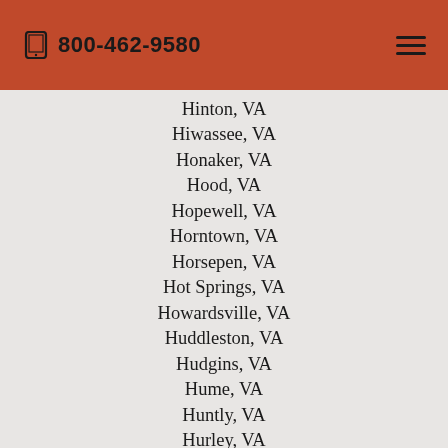800-462-9580
Hinton, VA
Hiwassee, VA
Honaker, VA
Hood, VA
Hopewell, VA
Horntown, VA
Horsepen, VA
Hot Springs, VA
Howardsville, VA
Huddleston, VA
Hudgins, VA
Hume, VA
Huntly, VA
Hurley, VA
Hurt, VA
Hustle, VA
Independence, VA
Indian Valley, VA